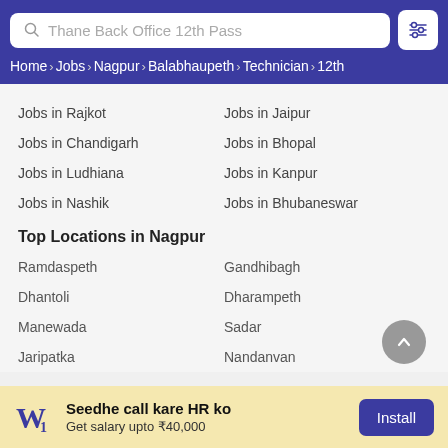Thane Back Office 12th Pass
Home › Jobs › Nagpur › Balabhaupeth › Technician › 12th
Jobs in Rajkot
Jobs in Jaipur
Jobs in Chandigarh
Jobs in Bhopal
Jobs in Ludhiana
Jobs in Kanpur
Jobs in Nashik
Jobs in Bhubaneswar
Top Locations in Nagpur
Ramdaspeth
Gandhibagh
Dhantoli
Dharampeth
Manewada
Sadar
Jaripatka
Nandanvan
Seedhe call kare HR ko
Get salary upto ₹40,000